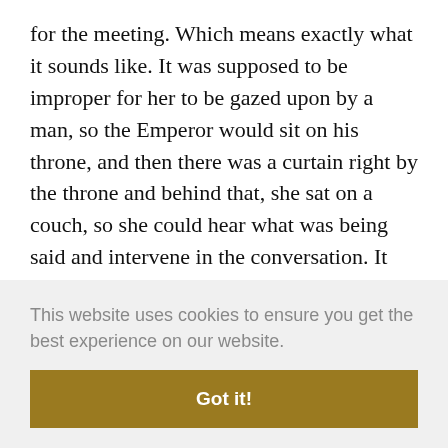for the meeting. Which means exactly what it sounds like. It was supposed to be improper for her to be gazed upon by a man, so the Emperor would sit on his throne, and then there was a curtain right by the throne and behind that, she sat on a couch, so she could hear what was being said and intervene in the conversation. It wasn't unheard of for her to contradict the Emperor if he said something she disagreed with, and as we've said
ime.
or
gn by
starting to implement reforms, felt that he
This website uses cookies to ensure you get the best experience on our website.
Got it!